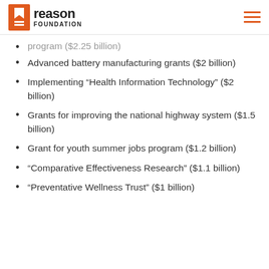Reason Foundation
program ($2.25 billion)
Advanced battery manufacturing grants ($2 billion)
Implementing “Health Information Technology” ($2 billion)
Grants for improving the national highway system ($1.5 billion)
Grant for youth summer jobs program ($1.2 billion)
“Comparative Effectiveness Research” ($1.1 billion)
“Preventative Wellness Trust” ($1 billion)